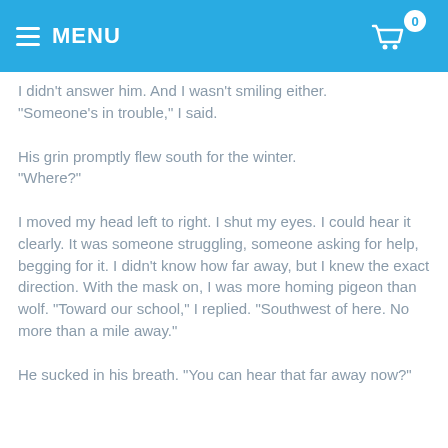MENU
I didn't answer him. And I wasn't smiling either. "Someone's in trouble," I said.
His grin promptly flew south for the winter. "Where?"
I moved my head left to right. I shut my eyes. I could hear it clearly. It was someone struggling, someone asking for help, begging for it. I didn't know how far away, but I knew the exact direction. With the mask on, I was more homing pigeon than wolf. "Toward our school," I replied. "Southwest of here. No more than a mile away."
He sucked in his breath. "You can hear that far away now?"